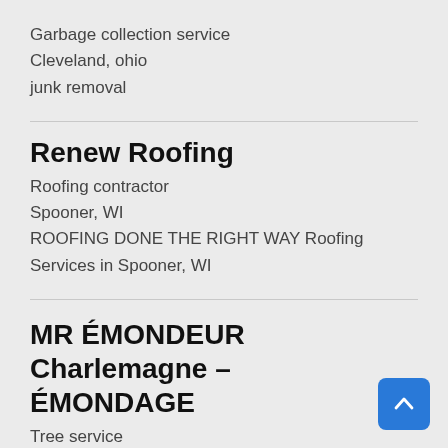Garbage collection service
Cleveland, ohio
junk removal
Renew Roofing
Roofing contractor
Spooner, WI
ROOFING DONE THE RIGHT WAY Roofing Services in Spooner, WI
MR ÉMONDEUR Charlemagne – ÉMONDAGE
Tree service